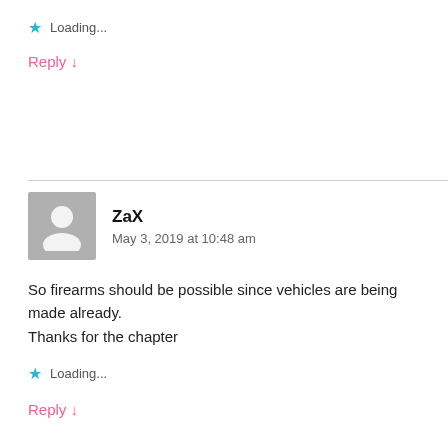Loading...
Reply ↓
ZaX
May 3, 2019 at 10:48 am
So firearms should be possible since vehicles are being made already.
Thanks for the chapter
Loading...
Reply ↓